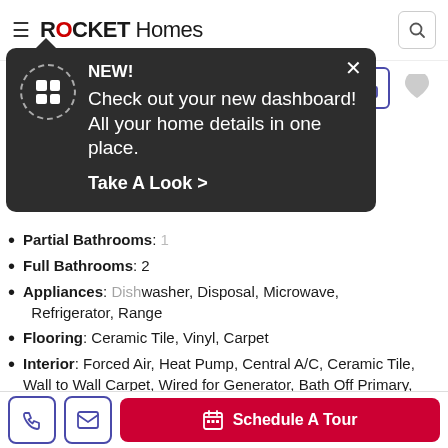ROCKET Homes
[Figure (screenshot): Rocket Homes app header with hamburger menu, ROCKET Homes logo, and search icon button]
[Figure (screenshot): Dark popup tooltip saying NEW! Check out your new dashboard! All your home details in one place. Take A Look > with close X button and dashboard grid icon]
Partial Bathrooms: [obscured]
Full Bathrooms: 2
Appliances: [obscured] Disposal, Microwave, Refrigerator, Range
Flooring: Ceramic Tile, Vinyl, Carpet
Interior: Forced Air, Heat Pump, Central A/C, Ceramic Tile, Wall to Wall Carpet, Wired for Generator, Bath Off Primary, Ceiling Fan(s), Double Pane/Storm Window, Dining Room, French Doors, Hot Tub/Spa, Jetted Tub, Loft, Vaulted Ceiling(s), Walk-In Pantry, Walk-In Closet(s), Water Heater